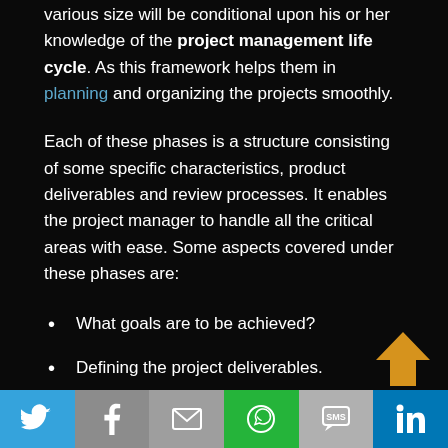various size will be conditional upon his or her knowledge of the project management life cycle. As this framework helps them in planning and organizing the projects smoothly.
Each of these phases is a structure consisting of some specific characteristics, product deliverables and review processes. It enables the project manager to handle all the critical areas with ease. Some aspects covered under these phases are:
What goals are to be achieved?
Defining the project deliverables.
Who gets on the project team?
Monitoring of performance at the end of each phase.